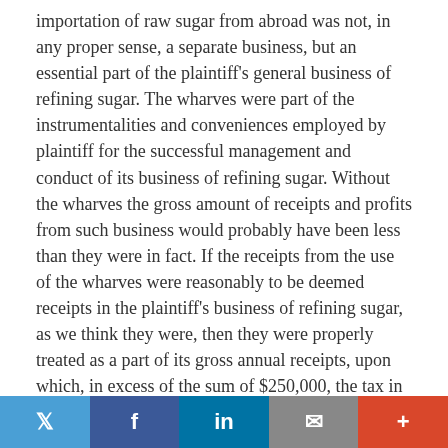importation of raw sugar from abroad was not, in any proper sense, a separate business, but an essential part of the plaintiff's general business of refining sugar. The wharves were part of the instrumentalities and conveniences employed by plaintiff for the successful management and conduct of its business of refining sugar. Without the wharves the gross amount of receipts and profits from such business would probably have been less than they were in fact. If the receipts from the use of the wharves were reasonably to be deemed receipts in the plaintiff's business of refining sugar, as we think they were, then they were properly treated as a part of its gross annual receipts, upon which, in excess of the sum of $250,000, the tax in question was rightly imposed.
The remaining assignment of error relates to the including in the plaintiff's gross annual receipts of interest paid to it upon
Twitter | Facebook | LinkedIn | Email | +